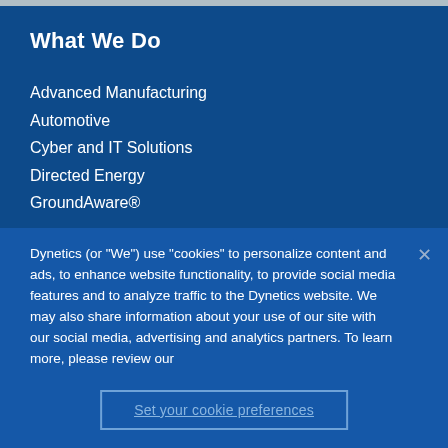What We Do
Advanced Manufacturing
Automotive
Cyber and IT Solutions
Directed Energy
GroundAware®
Dynetics (or "We") use "cookies" to personalize content and ads, to enhance website functionality, to provide social media features and to analyze traffic to the Dynetics website. We may also share information about your use of our site with our social media, advertising and analytics partners. To learn more, please review our
Set your cookie preferences